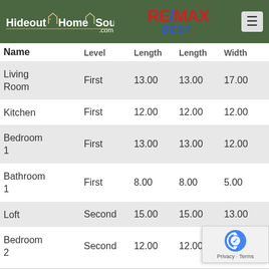Hideout Home Source .com RE/MAX BEST
| Name | Level | Length | Length | Width | Area | Width |
| --- | --- | --- | --- | --- | --- | --- |
| Living Room | First | 13.00 | 13.00 | 17.00 | 221.00 | 17.0 |
| Kitchen | First | 12.00 | 12.00 | 12.00 | 144.00 | 12.0 |
| Bedroom 1 | First | 13.00 | 13.00 | 12.00 | 156.00 | 12.0 |
| Bathroom 1 | First | 8.00 | 8.00 | 5.00 | 40.00 | 5.00 |
| Loft | Second | 15.00 | 15.00 | 13.00 | 195.00 | 13.0 |
| Bedroom 2 | Second | 12.00 | 12.00 | 12.00 | 14… |  |